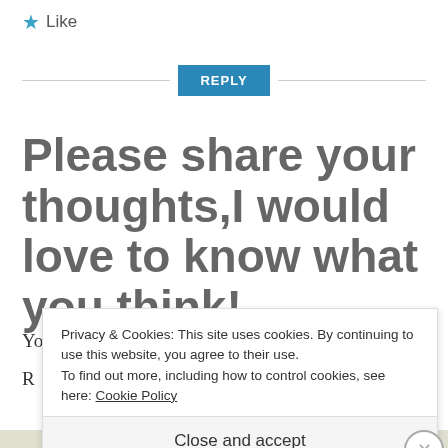★ Like
REPLY
Please share your thoughts,I would love to know what you think!
Your email address will not be published.
Privacy & Cookies: This site uses cookies. By continuing to use this website, you agree to their use. To find out more, including how to control cookies, see here: Cookie Policy
Close and accept